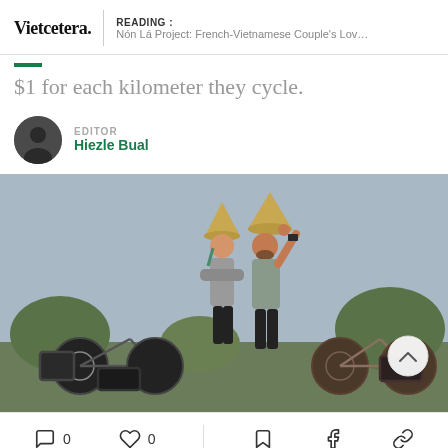Vietcetera. | READING : Nón Lá Project: French-Vietnamese Couple's Love For...
$1 for each kilometer they cycle.
EDITOR
Hiezle Bual
[Figure (photo): A French-Vietnamese couple wearing Vietnamese conical (nón lá) hats, standing with fully-loaded touring bicycles outdoors against a hazy sky and trees in the background.]
0  0  [bookmark] [facebook] [link]